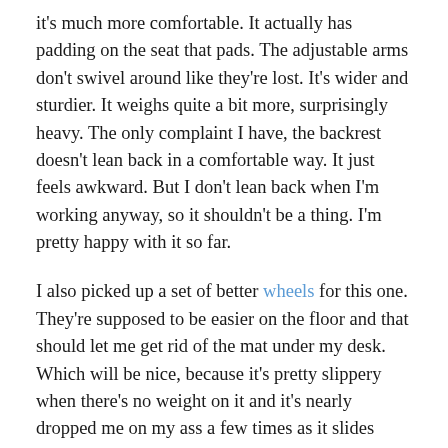it's much more comfortable. It actually has padding on the seat that pads. The adjustable arms don't swivel around like they're lost. It's wider and sturdier. It weighs quite a bit more, surprisingly heavy. The only complaint I have, the backrest doesn't lean back in a comfortable way. It just feels awkward. But I don't lean back when I'm working anyway, so it shouldn't be a thing. I'm pretty happy with it so far.
I also picked up a set of better wheels for this one. They're supposed to be easier on the floor and that should let me get rid of the mat under my desk. Which will be nice, because it's pretty slippery when there's no weight on it and it's nearly dropped me on my ass a few times as it slides across the floor. As an added bonus, these wheels are a lot quieter than the hard plastic wheels that always come with this type of chair. They roll real nice, too.